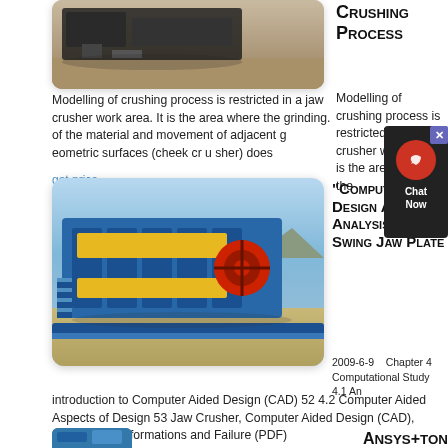[Figure (photo): Outdoor photo of a jaw crusher machine on a sand/dirt surface]
Crushing Process
Modelling of crushing process is restricted in a jaw crusher work area. It is the area where the grinding. of the material and movement of adjacent geometric surfaces (cheek crusher) does
get price
[Figure (photo): Large blue jaw crusher machine with red flywheel in desert/quarry setting]
"Computer Aided Design And Analysis Of Swing Jaw Plate
2009-6-9    Chapter 4 Computational Study 4.1 An introduction to Computer Aided Design (CAD) 52 4.2 Computer Aided Aspects of Design 53 Jaw Crusher, Computer Aided Design (CAD), Point-Load Deformations and Failure (PDF)
ANSYS+TON